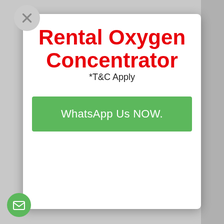Rental Oxygen Concentrator
*T&C Apply
WhatsApp Us NOW.